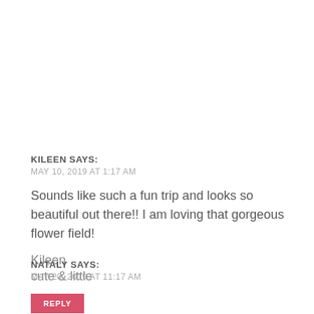KILEEN SAYS:
MAY 10, 2019 AT 1:17 AM
Sounds like such a fun trip and looks so beautiful out there!! I am loving that gorgeous flower field!
Kileen
cute & little
REPLY
NATALY SAYS:
MAY 20, 2019 AT 11:17 AM